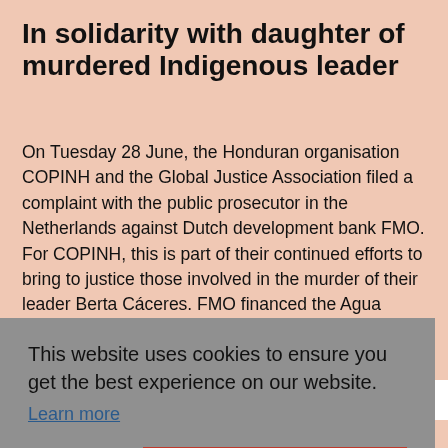In solidarity with daughter of murdered Indigenous leader
On Tuesday 28 June, the Honduran organisation COPINH and the Global Justice Association filed a complaint with the public prosecutor in the Netherlands against Dutch development bank FMO. For COPINH, this is part of their continued efforts to bring to justice those involved in the murder of their leader Berta Cáceres. FMO financed the Agua Zarca project in Honduras in 2014. The new complaint is based on
sed
[Figure (screenshot): Cookie consent banner overlay with grey background. Text reads: 'This website uses cookies to ensure you get the best experience on our website.' with a 'Learn more' link, and two buttons: 'Decline' and 'Allow cookies' (red button).]
Still, more funds are spent on the fossil industry than on